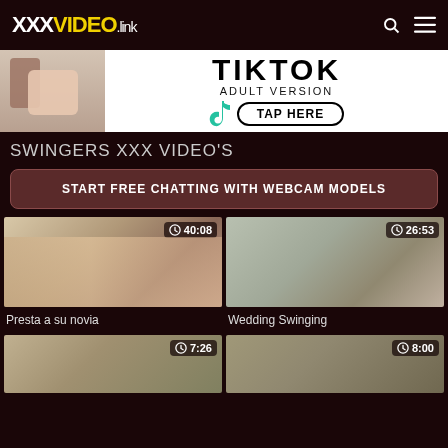XXXVIDEO.link
[Figure (photo): TikTok adult version advertisement banner with tap here button]
SWINGERS XXX VIDEO'S
START FREE CHATTING WITH WEBCAM MODELS
[Figure (photo): Video thumbnail showing two people, duration 40:08]
Presta a su novia
[Figure (photo): Video thumbnail showing bride and man, duration 26:53]
Wedding Swinging
[Figure (photo): Video thumbnail, duration 7:26]
[Figure (photo): Video thumbnail, duration 8:00]